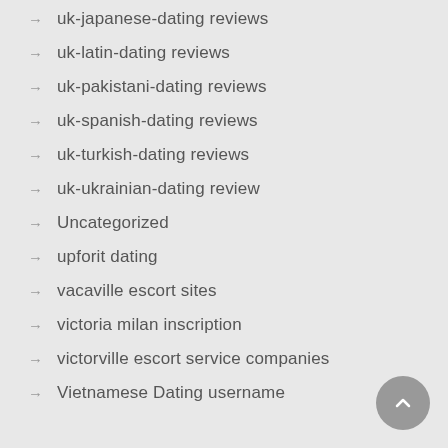uk-japanese-dating reviews
uk-latin-dating reviews
uk-pakistani-dating reviews
uk-spanish-dating reviews
uk-turkish-dating reviews
uk-ukrainian-dating review
Uncategorized
upforit dating
vacaville escort sites
victoria milan inscription
victorville escort service companies
Vietnamese Dating username